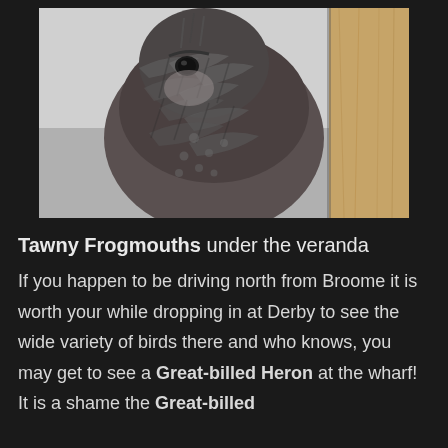[Figure (photo): Close-up photograph of a Tawny Frogmouth bird with mottled grey-brown plumage against a light background, next to a wooden surface]
Tawny Frogmouths under the veranda
If you happen to be driving north from Broome it is worth your while dropping in at Derby to see the wide variety of birds there and who knows, you may get to see a Great-billed Heron at the wharf! It is a shame the Great-billed